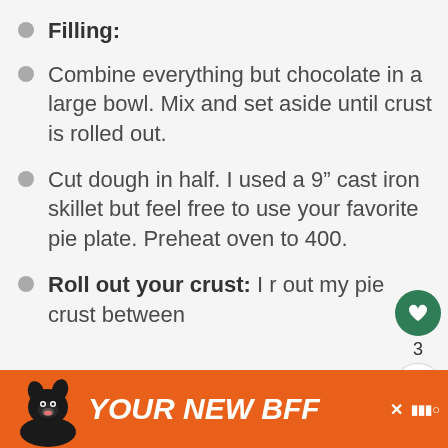Filling:
Combine everything but chocolate in a large bowl. Mix and set aside until crust is rolled out.
Cut dough in half. I used a 9" cast iron skillet but feel free to use your favorite pie plate. Preheat oven to 400.
Roll out your crust: I r... out my pie crust between
[Figure (screenshot): What's Next widget showing Easy Raspberry... recipe thumbnail]
[Figure (infographic): Orange advertisement banner: YOUR NEW BFF with dog image]